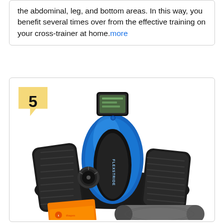the abdominal, leg, and bottom areas. In this way, you benefit several times over from the effective training on your cross-trainer at home.more
[Figure (photo): Product listing card showing number 5 badge and a blue/black under-desk elliptical machine (FlexStride brand) with two black foot pedals, a digital display, sitting on a black mat, with an orange resistance band and a rolled grey exercise mat in the foreground.]